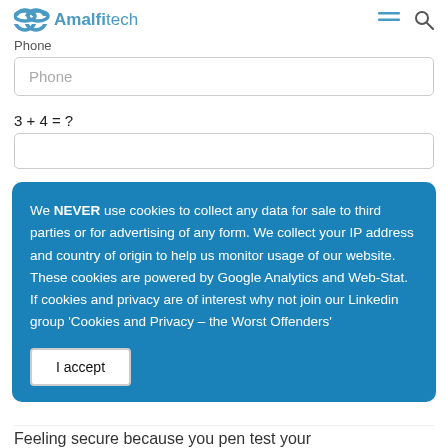Amalfitech
Phone
Phone
3 + 4 = ?
We NEVER use cookies to collect any data for sale to third parties or for advertising of any form. We collect your IP address and country of origin to help us monitor usage of our website. These cookies are powered by Google Analytics and Web-Stat. If cookies and privacy are of interest why not join our Linkedin group ‘Cookies and Privacy – the Worst Offenders’
I accept
Feeling secure because you pen test your